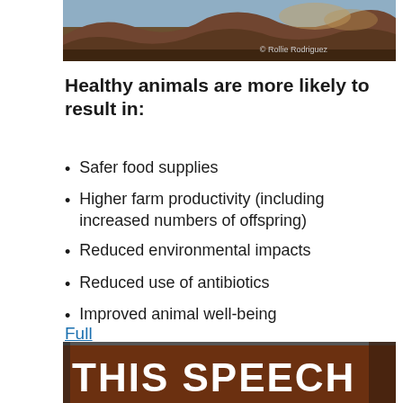[Figure (photo): Landscape photo of rocky terrain with vegetation, photo credit to Rollie Rodriguez]
Healthy animals are more likely to result in:
Safer food supplies
Higher farm productivity (including increased numbers of offspring)
Reduced environmental impacts
Reduced use of antibiotics
Improved animal well-being
Full Answer
[Figure (photo): Partial image showing text 'THIS SPEECH' on a brown background]